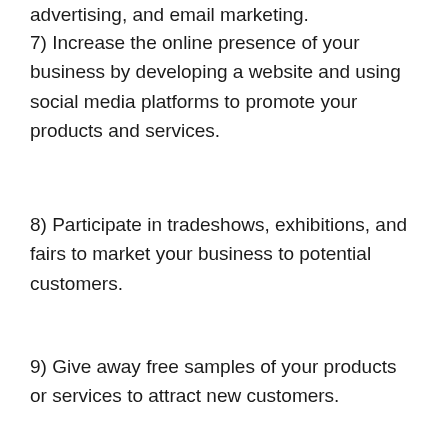advertising, and email marketing.
7) Increase the online presence of your business by developing a website and using social media platforms to promote your products and services.
8) Participate in tradeshows, exhibitions, and fairs to market your business to potential customers.
9) Give away free samples of your products or services to attract new customers.